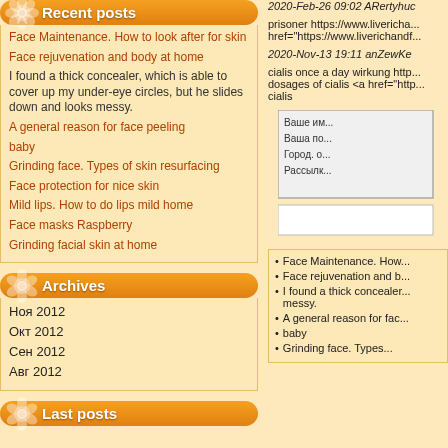Recent posts
Face Maintenance. How to look after for skin
Face rejuvenation and body at home
I found a thick concealer, which is able to cover up my under-eye circles, but he slides down and looks messy.
A general reason for face peeling
baby
Grinding face. Types of skin resurfacing
Face protection for nice skin
Mild lips. How to do lips mild home
Face masks Raspberry
Grinding facial skin at home
Archives
Ноя 2012
Окт 2012
Сен 2012
Авг 2012
Last posts
2020-Feb-26 09:02 ARertyhu
prisoner https://www.liverichan... href="https://www.liverichandf...
2020-Nov-13 19:11 anZewKe
cialis once a day wirkung http... dosages of cialis <a href="http... cialis
[Figure (screenshot): Form box with Russian labels: Ваше им..., Ваша по..., Город. о..., Рассылк... and a text area below]
Face Maintenance. How...
Face rejuvenation and b...
I found a thick concealer... messy.
A general reason for fac...
baby
Grinding face. Types...